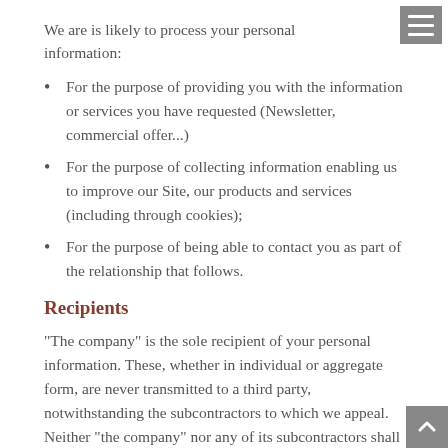We are is likely to process your personal information:
For the purpose of providing you with the information or services you have requested (Newsletter, commercial offer...)
For the purpose of collecting information enabling us to improve our Site, our products and services (including through cookies);
For the purpose of being able to contact you as part of the relationship that follows.
Recipients
"The company" is the sole recipient of your personal information. These, whether in individual or aggregate form, are never transmitted to a third party, notwithstanding the subcontractors to which we appeal. Neither "the company" nor any of its subcontractors shall carry out the marketing of the personal data of visitors and users of the "site"